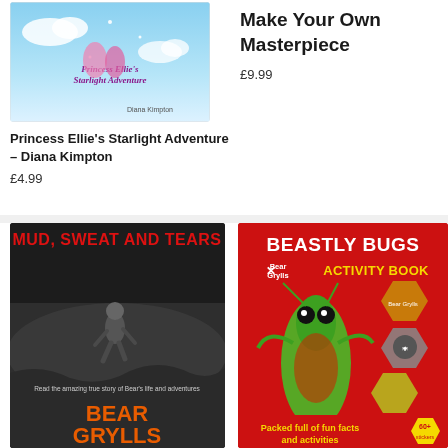[Figure (photo): Book cover: Princess Ellie's Starlight Adventure by Diana Kimpton – illustrated cover with pink boots and starlight adventure imagery on blue background]
Princess Ellie's Starlight Adventure – Diana Kimpton
£4.99
Make Your Own Masterpiece
£9.99
[Figure (photo): Book cover: Mud, Sweat and Tears by Bear Grylls – black and white photo of Bear Grylls running across rocks, title in red text, 'Bear Grylls' in orange at bottom]
[Figure (photo): Book cover: Beastly Bugs Activity Book – Bear Grylls branding, red background with large praying mantis insect, hexagonal photos of bugs and Bear Grylls portrait, 'Packed full of fun facts and activities', 60+ stickers badge]